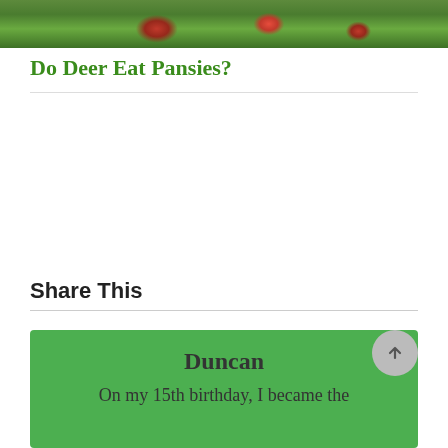[Figure (photo): Top strip of a garden photo showing strawberries and green foliage]
Do Deer Eat Pansies?
Share This
[Figure (infographic): Social media share icons: Twitter (bird), Facebook (f), Pinterest (p)]
Duncan
On my 15th birthday, I became the